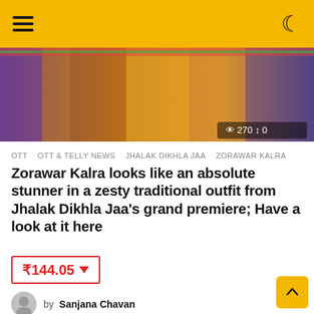Navigation header with hamburger menu and dark mode toggle
[Figure (photo): Hero image showing a person in traditional outfit from Jhalak Dikhla Jaa, with view count overlay showing 270 and 0]
OTT  OTT & TELLY NEWS  JHALAK DIKHLA JAA  ZORAWAR KALRA
Zorawar Kalra looks like an absolute stunner in a zesty traditional outfit from Jhalak Dikhla Jaa's grand premiere; Have a look at it here
₹144.05 ▼
by Sanjana Chavan
[Figure (photo): Two photos side by side — left: a man at Directorate of Film Festivals event with Hindi and English text; right: three men in black t-shirts posing together]